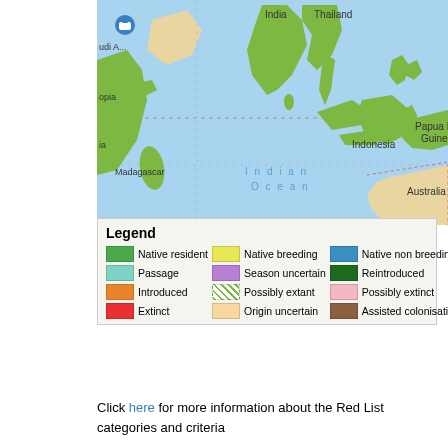[Figure (map): World map showing species range, cropped to show Indian Ocean region including India, Thailand, Indonesia, Papua New Guinea, Australia, Madagascar. Green areas indicate native resident range across South and Southeast Asia.]
Legend: Native resident, Passage, Introduced, Extinct, Native breeding, Season uncertain, Possibly extant, Origin uncertain, Native non breeding, Reintroduced, Possibly extinct, Assisted colonisation
Click here for more information about the Red List categories and criteria
Justification of Red List category
This species has an extremely large range, and hence does not approach the thresholds for Vulnerable under the range size criterion (extent of occurrence <20,000 km² combined with a declining or fluctuating range size, habitat extent/quality, or population size and a small number of locations or severe fragmentation). Despite the fact that the population trend appears to be decreasing, the decline is not believed to be sufficiently rapid to approach the thresholds for